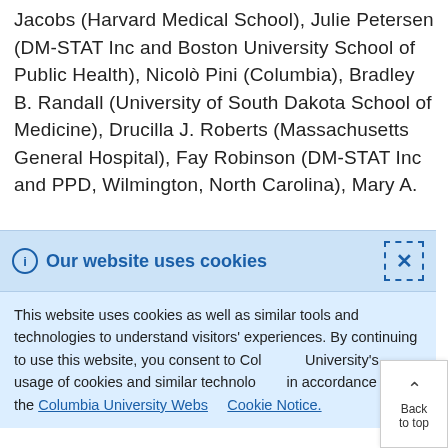Jacobs (Harvard Medical School), Julie Petersen (DM-STAT Inc and Boston University School of Public Health), Nicolò Pini (Columbia), Bradley B. Randall (University of South Dakota School of Medicine), Drucilla J. Roberts (Massachusetts General Hospital), Fay Robinson (DM-STAT Inc and PPD, Wilmington, North Carolina), Mary A.
Our website uses cookies
This website uses cookies as well as similar tools and technologies to understand visitors' experiences. By continuing to use this website, you consent to Columbia University's usage of cookies and similar technologies in accordance with the Columbia University Website Cookie Notice.